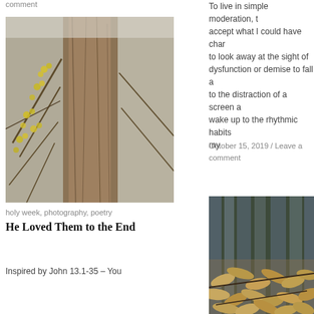comment
To live in simple moderation, to accept what I could have changed, to look away at the sight of dysfunction or demise to fall a to the distraction of a screen a wake up to the rhythmic habits my
October 15, 2019 / Leave a comment
[Figure (photo): Branches with small yellow flowers against a large tree trunk, nature/spring photography]
holy week, photography, poetry
He Loved Them to the End
Inspired by John 13.1-35 – You
[Figure (photo): Dried autumn leaves hanging on branches with blurred forest background]